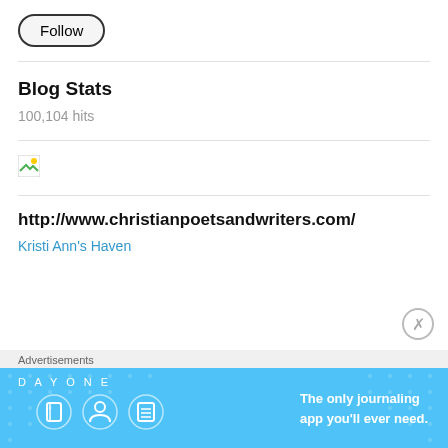Follow
Blog Stats
100,104 hits
[Figure (other): Small broken image icon]
http://www.christianpoetsandwriters.com/
Kristi Ann's Haven
Advertisements
[Figure (other): Day One journaling app advertisement banner with blue background, app icons, and text: The only journaling app you'll ever need.]